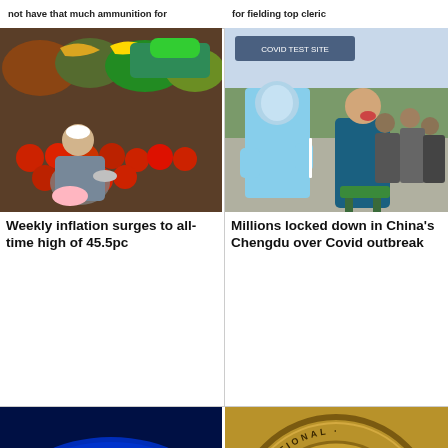not have that much ammunition for fielding top cleric
[Figure (photo): Man selling vegetables at a market stall with tomatoes, bananas and other produce]
Weekly inflation surges to all-time high of 45.5pc
[Figure (photo): Healthcare worker in PPE taking COVID test swab from seated person in China]
Millions locked down in China's Chengdu over Covid outbreak
[Figure (photo): Samsung logo on blue oval background with Apple logo below]
[Figure (photo): International Monetary Fund logo/seal in gold]